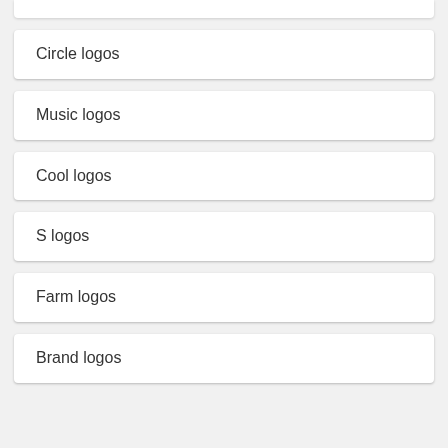Circle logos
Music logos
Cool logos
S logos
Farm logos
Brand logos